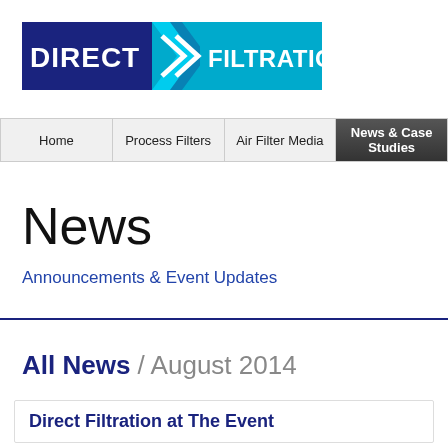[Figure (logo): Direct Filtration logo — dark blue rectangle with white text DIRECT, light blue chevron arrows, light blue rectangle with white text FILTRATION]
Home | Process Filters | Air Filter Media | News & Case Studies
News
Announcements & Event Updates
All News / August 2014
Direct Filtration at The Event